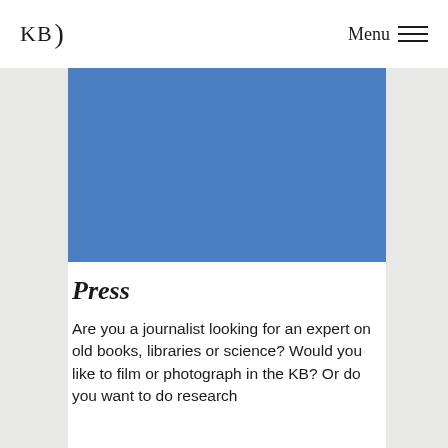KB )  Menu ☰
[Figure (photo): Blue rectangular placeholder image filling the main content column]
Press
Are you a journalist looking for an expert on old books, libraries or science? Would you like to film or photograph in the KB? Or do you want to do research